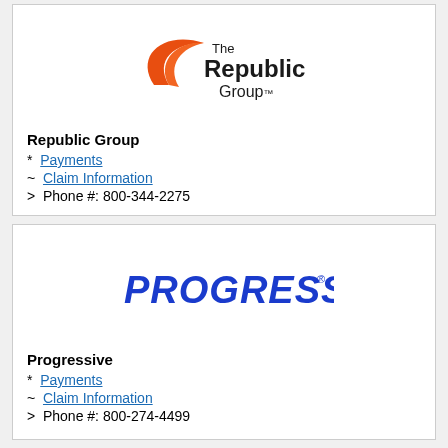[Figure (logo): The Republic Group logo with orange crescent arc and bold black text]
Republic Group
*  Payments
~  Claim Information
>  Phone #: 800-344-2275
[Figure (logo): Progressive insurance logo in bold blue italic text]
Progressive
*  Payments
~  Claim Information
>  Phone #: 800-274-4499